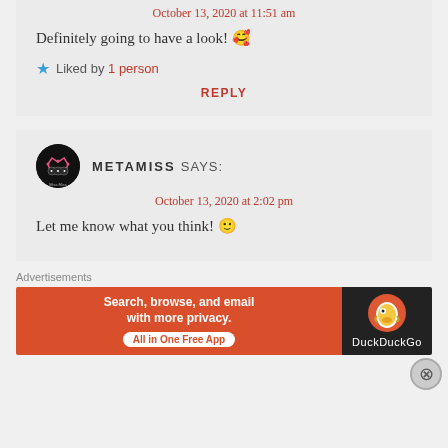October 13, 2020 at 11:51 am
Definitely going to have a look! 🥰
★ Liked by 1 person
REPLY
METAMISS SAYS:
October 13, 2020 at 2:02 pm
Let me know what you think! 🙂
Advertisements
[Figure (infographic): DuckDuckGo advertisement banner: orange left side with text 'Search, browse, and email with more privacy. All in One Free App' and dark right side with DuckDuckGo duck logo and brand name.]